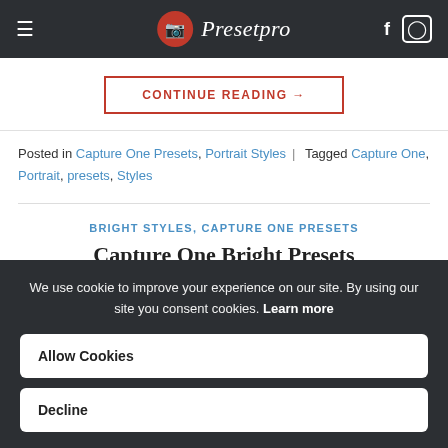Presetpro
CONTINUE READING →
Posted in Capture One Presets, Portrait Styles | Tagged Capture One, Portrait, presets, Styles
BRIGHT STYLES, CAPTURE ONE PRESETS
Capture One Bright Presets
We use cookie to improve your experience on our site. By using our site you consent cookies. Learn more
Allow Cookies
Decline